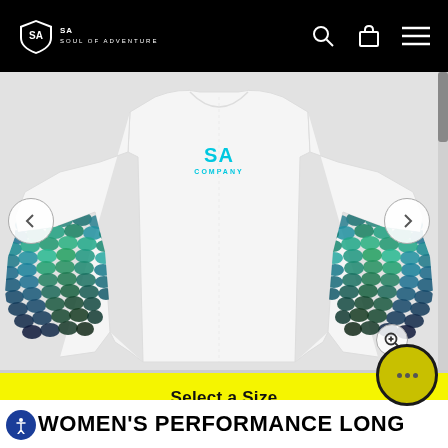[Figure (screenshot): E-commerce product page screenshot for SA Company (Soul of Adventure) women's long sleeve performance shirt. Black navigation bar at top with SA logo, search, cart, and menu icons. Product image shows a white long-sleeve shirt with blue/teal fish scale pattern on the sleeves and SA Company logo on chest. Left and right navigation arrows visible. Zoom magnifier icon at bottom right of image. Yellow 'Select a Size' button below image. Bottom shows start of product title 'WOMEN'S PERFORMANCE LONG'. Accessibility button at bottom left. Chat button at bottom right.]